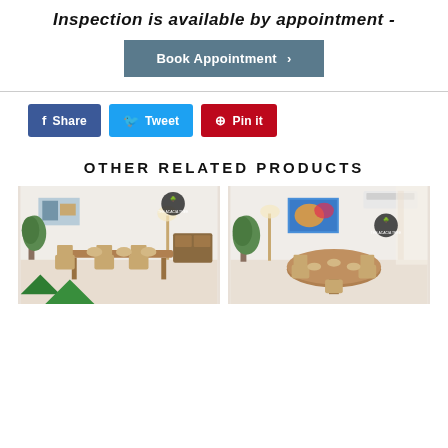Inspection is available by appointment -
Book Appointment >
Share
Tweet
Pin it
OTHER RELATED PRODUCTS
[Figure (photo): Wooden dining table with chairs in a bright room with a plant and artwork on wall]
[Figure (photo): Round wooden dining table with wishbone chairs in a bright room with plant and colorful artwork]